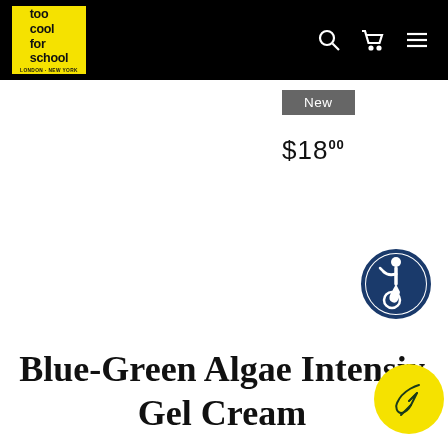[Figure (logo): Too Cool For School logo — yellow square with bold black lowercase text 'too cool for school' and small text 'LONDON NEW YORK']
[Figure (infographic): Navigation bar with search icon, cart icon, and hamburger menu icon on black background]
New
$18.00
[Figure (infographic): Blue circular accessibility icon showing a person on a wheelchair]
Blue-Green Algae Intensive Gel Cream
[Figure (illustration): Yellow circular button with a dark green feather icon]